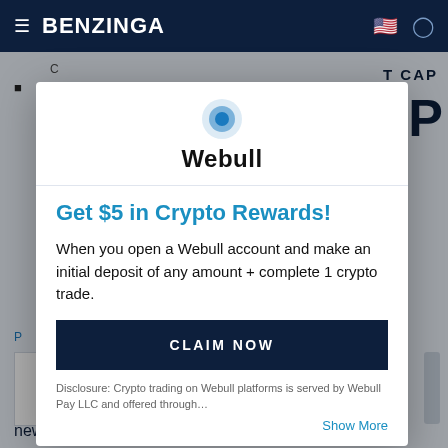BENZINGA
[Figure (screenshot): Webull promotional modal overlay on Benzinga website. Modal shows Webull logo, 'Get $5 in Crypto Rewards!' headline in blue, description text, a dark 'CLAIM NOW' button, and disclosure text with 'Show More' link. Background shows partially visible article about cryptocurrency market cap.]
Get $5 in Crypto Rewards!
When you open a Webull account and make an initial deposit of any amount + complete 1 crypto trade.
CLAIM NOW
Disclosure: Crypto trading on Webull platforms is served by Webull Pay LLC and offered through…
Show More
new eyes to the cryptocurrency market. Crypto was a